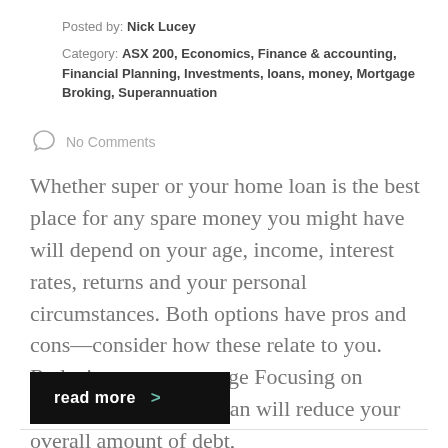Posted by: Nick Lucey
Category: ASX 200, Economics, Finance & accounting, Financial Planning, Investments, loans, money, Mortgage Broking, Superannuation
No Comments
Whether super or your home loan is the best place for any spare money you might have will depend on your age, income, interest rates, returns and your personal circumstances. Both options have pros and cons—consider how these relate to you. Reducing your mortgage Focusing on repaying your home loan will reduce your overall amount of debt,
read more >